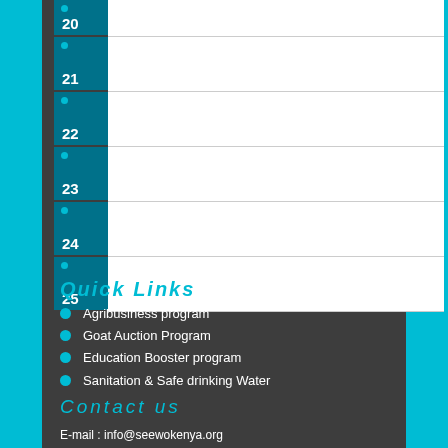| 20 |  |
| 21 |  |
| 22 |  |
| 23 |  |
| 24 |  |
| 25 |  |
Quick Links
Agribusiness program
Goat Auction Program
Education Booster program
Sanitation & Safe drinking Water
Contact us
E-mail : info@seewokenya.org